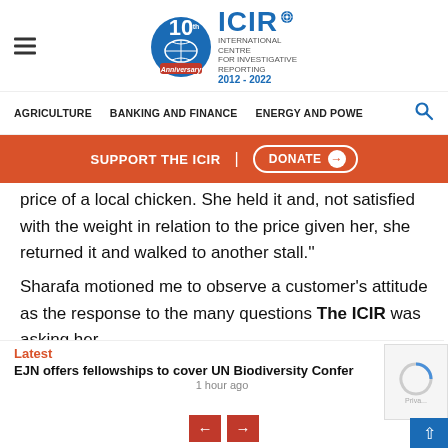ICIR — International Centre for Investigative Reporting — 10th Anniversary 2012-2022
AGRICULTURE   BANKING AND FINANCE   ENERGY AND POWE
SUPPORT THE ICIR  |  DONATE →
price of a local chicken. She held it and, not satisfied with the weight in relation to the price given her, she returned it and walked to another stall.''
Sharafa motioned me to observe a customer's attitude as the response to the many questions The ICIR was asking her.
Latest
EJN offers fellowships to cover UN Biodiversity Confer
1 hour ago